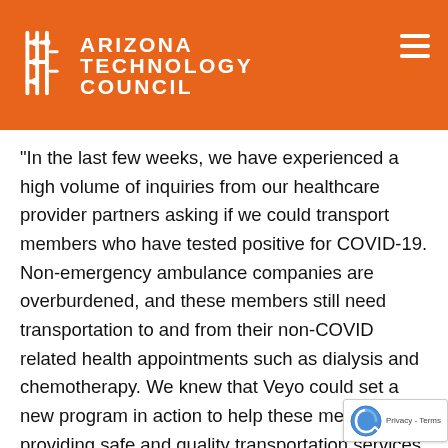ARIZONA TECHNOLOGY COUNCIL
“In the last few weeks, we have experienced a high volume of inquiries from our healthcare provider partners asking if we could transport members who have tested positive for COVID-19. Non-emergency ambulance companies are overburdened, and these members still need transportation to and from their non-COVID related health appointments such as dialysis and chemotherapy. We knew that Veyo could set a new program in action to help these members by providing safe and quality transportation services that they can rely on and trust,” said Josh Komenda, president of Veyo. “Not only do we value the health of our members, but we also greatly value the health of our drivers. Fleet protocols were developed by Veyo leadership by adopting recommendations from the United States Centers for Disease Control (CDC)...